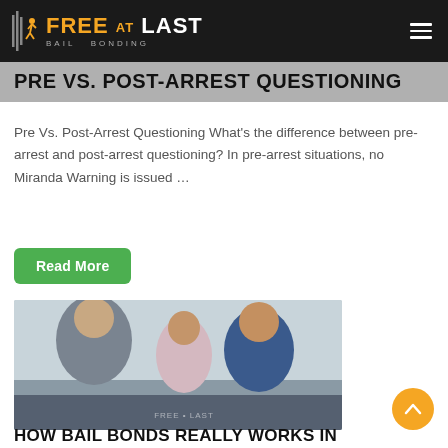FREE AT LAST BAIL BONDING
PRE VS. POST-ARREST QUESTIONING
Pre Vs. Post-Arrest Questioning What's the difference between pre-arrest and post-arrest questioning? In pre-arrest situations, no Miranda Warning is issued …
Read More
[Figure (photo): Three people at a meeting table — two men and a woman — one man shaking hands with another across the table, smiling. Free at Last Bail Bonding watermark visible.]
HOW BAIL BONDS REALLY WORKS IN NASHVILLE TENNESSEE